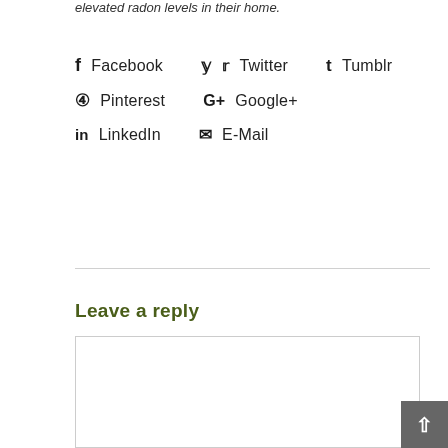elevated radon levels in their home.
Facebook
Twitter
Tumblr
Pinterest
Google+
LinkedIn
E-Mail
Leave a reply